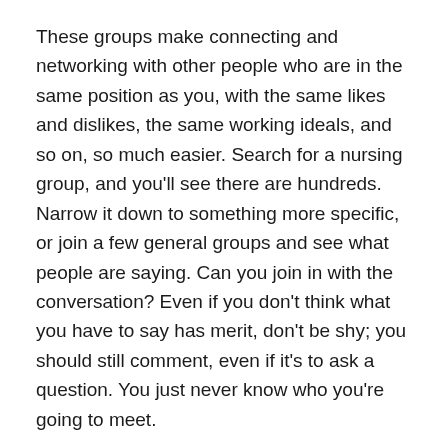These groups make connecting and networking with other people who are in the same position as you, with the same likes and dislikes, the same working ideals, and so on, so much easier. Search for a nursing group, and you'll see there are hundreds. Narrow it down to something more specific, or join a few general groups and see what people are saying. Can you join in with the conversation? Even if you don't think what you have to say has merit, don't be shy; you should still comment, even if it's to ask a question. You just never know who you're going to meet.
Of course, there are some rules to Facebook groups, and that includes being polite and behaving well. In most cases, this is what people will do, but it's wise to think about what you're going to write before committing and making sure it's kind and pleasant. You never know what other people are